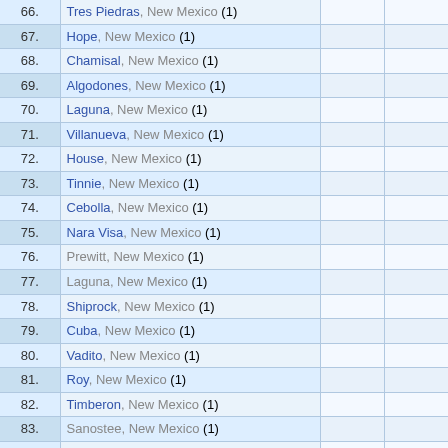| # | Location |  |  |
| --- | --- | --- | --- |
| 66. | Tres Piedras, New Mexico (1) |  |  |
| 67. | Hope, New Mexico (1) |  |  |
| 68. | Chamisal, New Mexico (1) |  |  |
| 69. | Algodones, New Mexico (1) |  |  |
| 70. | Laguna, New Mexico (1) |  |  |
| 71. | Villanueva, New Mexico (1) |  |  |
| 72. | House, New Mexico (1) |  |  |
| 73. | Tinnie, New Mexico (1) |  |  |
| 74. | Cebolla, New Mexico (1) |  |  |
| 75. | Nara Visa, New Mexico (1) |  |  |
| 76. | Prewitt, New Mexico (1) |  |  |
| 77. | Laguna, New Mexico (1) |  |  |
| 78. | Shiprock, New Mexico (1) |  |  |
| 79. | Cuba, New Mexico (1) |  |  |
| 80. | Vadito, New Mexico (1) |  |  |
| 81. | Roy, New Mexico (1) |  |  |
| 82. | Timberon, New Mexico (1) |  |  |
| 83. | Sanostee, New Mexico (1) |  |  |
| 84. | Zuni, New Mexico (1) |  |  |
| 85. | Newcomb, New Mexico (1) |  |  |
| 86. | Pena Blanca, New Mexico (1) |  |  |
| 87. | Dulce, New Mexico (1) |  |  |
| 88. | Penasco, New Mexico (1) |  |  |
| 89. | Jemez Pueblo, New Mexico (1) |  |  |
| 90. | Corona, New Mexico (1) |  |  |
| 91. | Gallina, New Mexico (1) |  |  |